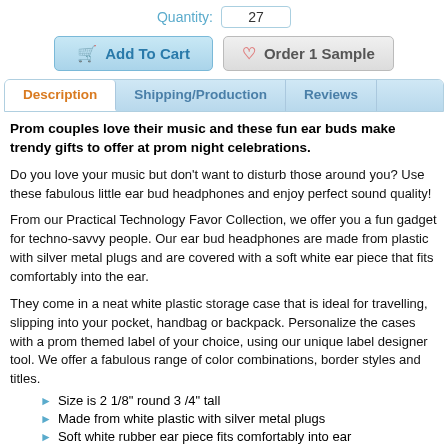Quantity: 27
Add To Cart   Order 1 Sample
Description | Shipping/Production | Reviews
Prom couples love their music and these fun ear buds make trendy gifts to offer at prom night celebrations.
Do you love your music but don't want to disturb those around you? Use these fabulous little ear bud headphones and enjoy perfect sound quality!
From our Practical Technology Favor Collection, we offer you a fun gadget for techno-savvy people. Our ear bud headphones are made from plastic with silver metal plugs and are covered with a soft white ear piece that fits comfortably into the ear.
They come in a neat white plastic storage case that is ideal for travelling, slipping into your pocket, handbag or backpack. Personalize the cases with a prom themed label of your choice, using our unique label designer tool. We offer a fabulous range of color combinations, border styles and titles.
Size is 2 1/8" round 3 /4" tall
Made from white plastic with silver metal plugs
Soft white rubber ear piece fits comfortably into ear